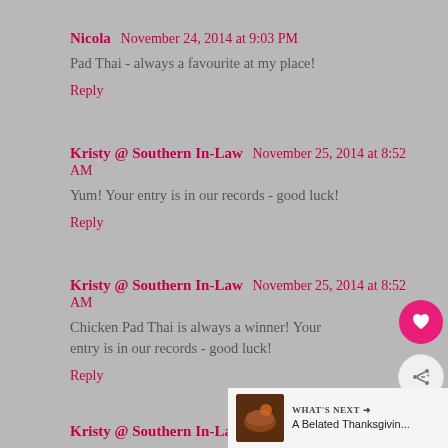Nicola  November 24, 2014 at 9:03 PM
Pad Thai - always a favourite at my place!
Reply
Kristy @ Southern In-Law  November 25, 2014 at 8:52 AM
Yum! Your entry is in our records - good luck!
Reply
Kristy @ Southern In-Law  November 25, 2014 at 8:52 AM
Chicken Pad Thai is always a winner! Your entry is in our records - good luck!
Reply
Kristy @ Southern In-Law  November 25, 2014 at 8:52...